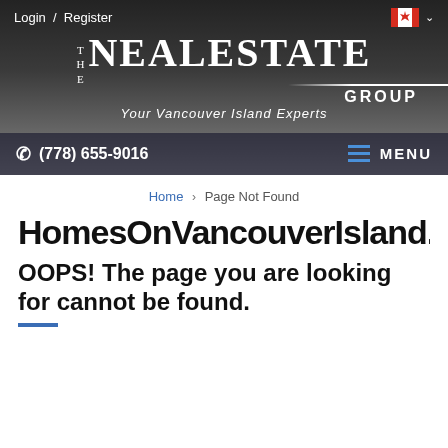Login / Register
[Figure (logo): The NealEstate Group logo — Your Vancouver Island Experts]
(778) 655-9016   MENU
Home > Page Not Found
HomesOnVancouverIsland.ca
OOPS! The page you are looking for cannot be found.